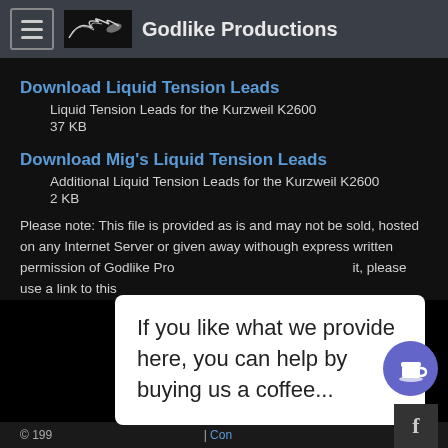Godlike Productions
Download Liquid Tension Leads
Liquid Tension Leads for the Kurzweil K2600
37 KB
Download Mig's Liquid Tension Leads
Additional Liquid Tension Leads for the Kurzweil K2600
2 KB
Please note: This file is provided as is and may not be sold, hosted on any Internet Server or given away withough express written permission of Godlike Pro... it, please use a link to this...
[Figure (other): Pop-up tooltip: 'If you like what we provide here, you can help by buying us a coffee...' with a coffee cup button and Facebook icon]
© 199... | Contact